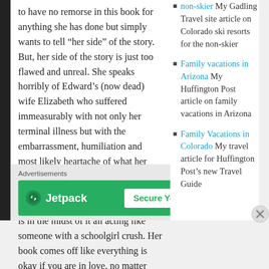to have no remorse in this book for anything she has done but simply wants to tell “her side” of the story. But, her side of the story is just too flawed and unreal. She speaks horribly of Edward’s (now dead) wife Elizabeth who suffered immeasurably with not only her terminal illness but with the embarrassment, humiliation and most likely heartache of what her husband of 32 years put her through. At times Hunter acts like she is outside looking in, when in fact, she is in the midst of it all acting like someone with a schoolgirl crush. Her book comes off like everything is okay if you are in love, no matter who you hurt or what
non-skier My Gadling Travel site article on Colorado ski resorts for the non-skier
Family vacations in Arizona My Huffington Post article on family vacations in Arizona
Family Vacations in Colorado My travel article for Huffington Post’s new Travel Guide
Advertisements
[Figure (other): Jetpack advertisement banner with green background, Jetpack logo on left, and 'Secure Your Site' button on right]